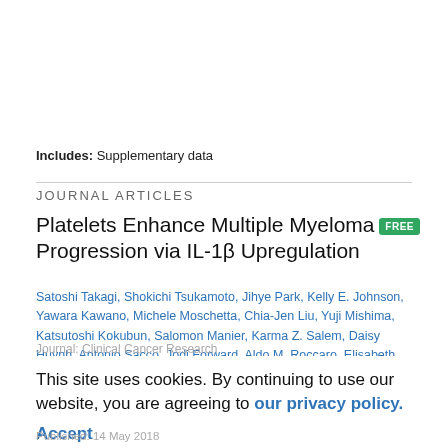Includes: Supplementary data
JOURNAL ARTICLES
Platelets Enhance Multiple Myeloma Progression via IL-1β Upregulation
Satoshi Takagi, Shokichi Tsukamoto, Jihye Park, Kelly E. Johnson, Yawara Kawano, Michele Moschetta, Chia-Jen Liu, Yuji Mishima, Katsutoshi Kokubun, Salomon Manier, Karma Z. Salem, Daisy Huynh, Antonio Sacco, Jodi Forward, Aldo M. Roccaro, Elisabeth M. Battinelli, Irene M. Ghobrial
Journal: Clinical Cancer Research
This site uses cookies. By continuing to use our website, you are agreeing to our privacy policy. Accept
Published: 14 May 2018